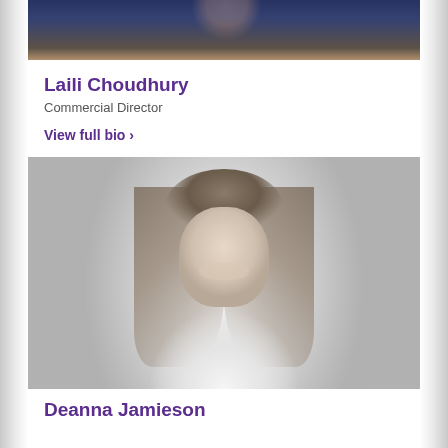[Figure (photo): Partial photo of Laili Choudhury at the top of the page, showing a woman in blue with orange/gold accent, cropped at the bottom of the image]
Laili Choudhury
Commercial Director
View full bio >
[Figure (photo): Black and white professional headshot of Deanna Jamieson, a smiling woman with long blonde hair wearing a white top]
Deanna Jamieson